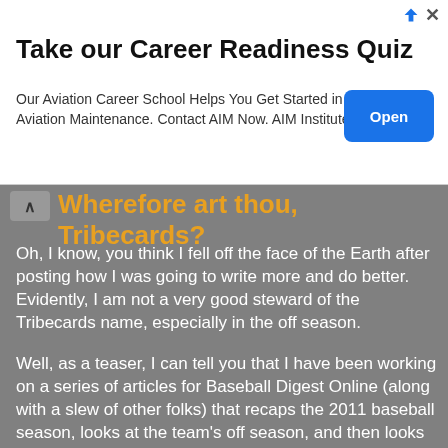[Figure (other): Advertisement banner: 'Take our Career Readiness Quiz' with Open button. Our Aviation Career School Helps You Get Started in Aviation Maintenance. Contact AIM Now. AIM Institute]
Wherefore art thou, Tribecards?
Oh, I know, you think I fell off the face of the Earth after posting how I was going to write more and do better. Evidently, I am not a very good steward of the Tribecards name, especially in the off season.
Well, as a teaser, I can tell you that I have been working on a series of articles for Baseball Digest Online (along with a slew of other folks) that recaps the 2011 baseball season, looks at the team's off season, and then looks ahead to next year.
Once my article has been edited, approved and posted, I'll share it with you, along with additional thoughts that didn't make the summary. I have a feeling my submitted piece will